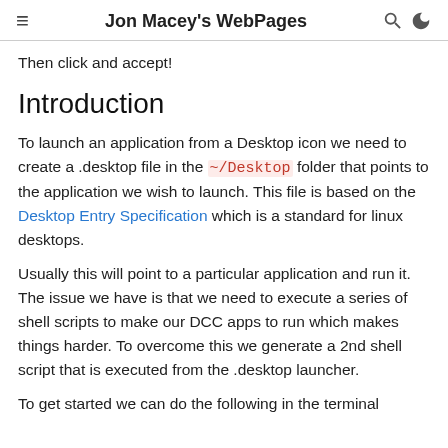Jon Macey's WebPages
Then click and accept!
Introduction
To launch an application from a Desktop icon we need to create a .desktop file in the ~/Desktop folder that points to the application we wish to launch. This file is based on the Desktop Entry Specification which is a standard for linux desktops.
Usually this will point to a particular application and run it. The issue we have is that we need to execute a series of shell scripts to make our DCC apps to run which makes things harder. To overcome this we generate a 2nd shell script that is executed from the .desktop launcher.
To get started we can do the following in the terminal